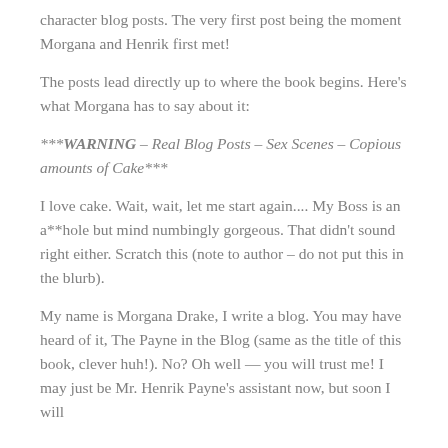character blog posts. The very first post being the moment Morgana and Henrik first met!
The posts lead directly up to where the book begins. Here’s what Morgana has to say about it:
***WARNING – Real Blog Posts – Sex Scenes – Copious amounts of Cake***
I love cake. Wait, wait, let me start again.... My Boss is an a**hole but mind numbingly gorgeous. That didn’t sound right either. Scratch this (note to author – do not put this in the blurb).
My name is Morgana Drake, I write a blog. You may have heard of it, The Payne in the Blog (same as the title of this book, clever huh!). No? Oh well — you will trust me! I may just be Mr. Henrik Payne’s assistant now, but soon I will